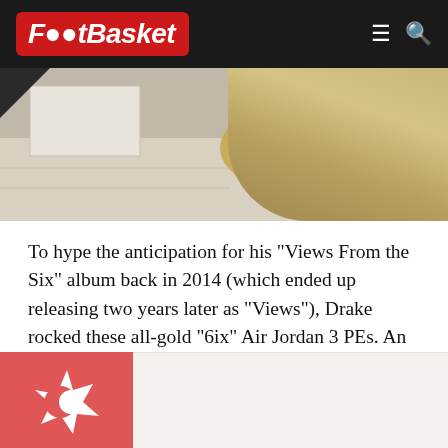FootBasket
[Figure (photo): Close-up photo of an all-gold Air Jordan 3 PE sneaker on a light surface, shot from the side/rear]
To hype the anticipation for his "Views From the Six" album back in 2014 (which ended up releasing two years later as "Views"), Drake rocked these all-gold "6ix" Air Jordan 3 PEs. An extremely rare shoe from Drizzy's catalog.
[Figure (illustration): Red square with white star/crescent Islamic-style emblem icon]